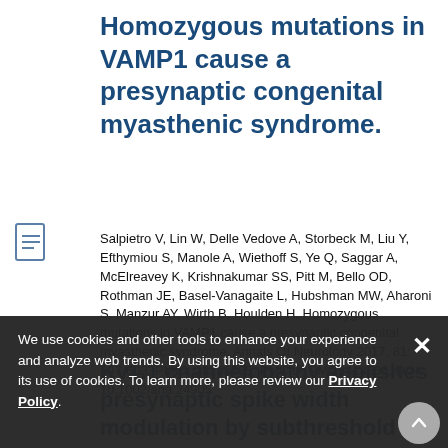Homozygous mutations in VAMP1 cause a presynaptic congenital myasthenic syndrome.
Salpietro V, Lin W, Delle Vedove A, Storbeck M, Liu Y, Efthymiou S, Manole A, Wiethoff S, Ye Q, Saggar A, McElreavey K, Krishnakumar SS, Pitt M, Bello OD, Rothman JE, Basel-Vanagaite L, Hubshman MW, Aharoni S, Manzur AY, Wirth B, Houlden H. Homozygous mutations in VAMP1 cause a presynaptic congenital myasthenic syndrome. Annals Of Neurology 2017, 81: 597-603. PMID: 28253535, PMCID: PMC5413866, DOI: 10.1002/ana.24905.
We use cookies and other tools to enhance your experience and analyze web trends. By using this website, you agree to its use of cookies. To learn more, please review our Privacy Policy.
Kv1.1 channelopathy abolishes presynaptic spike width modulation by subthreshold